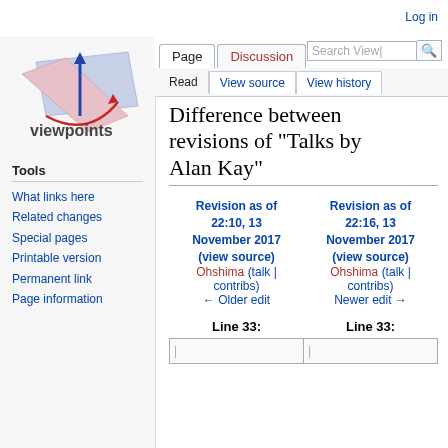Log in
[Figure (logo): Viewpoints Research Institute logo: blue arrow and red curve on geometric planes with text 'viewpoints']
Tools
What links here
Related changes
Special pages
Printable version
Permanent link
Page information
Difference between revisions of "Talks by Alan Kay"
| Revision as of 22:10, 13 November 2017 (view source) Ohshima (talk | contribs) ← Older edit | Revision as of 22:16, 13 November 2017 (view source) Ohshima (talk | contribs) Newer edit → |
| --- | --- |
| Line 33: | Line 33: |
|  |  |